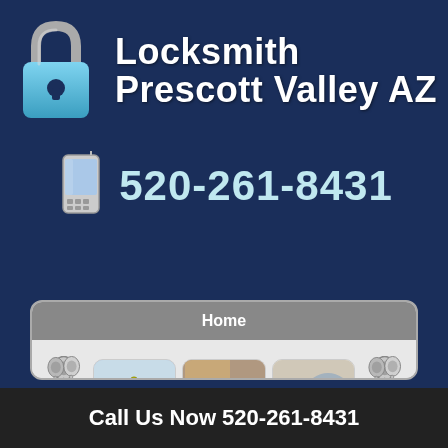[Figure (logo): Locksmith Prescott Valley AZ logo with padlock icon and brand name]
520-261-8431
[Figure (screenshot): Website screenshot showing Home navigation and locksmith service images including keys and car lockout]
Call Us Now 520-261-8431